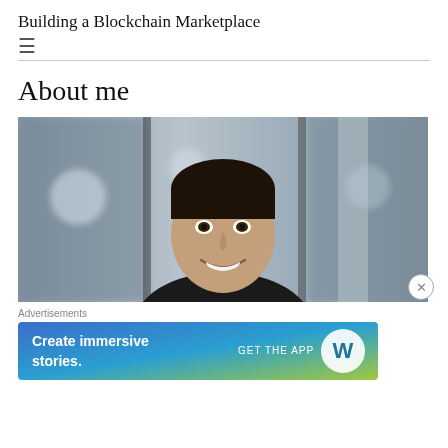Building a Blockchain Marketplace
About me
[Figure (photo): Professional headshot of a man with dark hair wearing a black shirt, smiling, with a blurred office background]
Advertisements
[Figure (infographic): Advertisement banner reading 'Create immersive stories. GET THE APP' with WordPress logo, gradient background from blue to green/yellow]